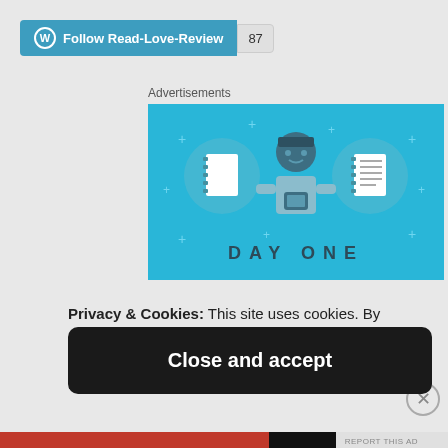[Figure (screenshot): WordPress follow button bar showing 'Follow Read-Love-Review' with WordPress logo in teal/blue, and follower count badge showing 87]
Advertisements
[Figure (illustration): Day One app advertisement banner on blue background showing a person holding a phone with notebook icons on either side and 'DAY ONE' text]
Privacy & Cookies: This site uses cookies. By continuing to use this website, you agree to their use. To find out more, including how to control cookies, see here: Cookie Policy
Close and accept